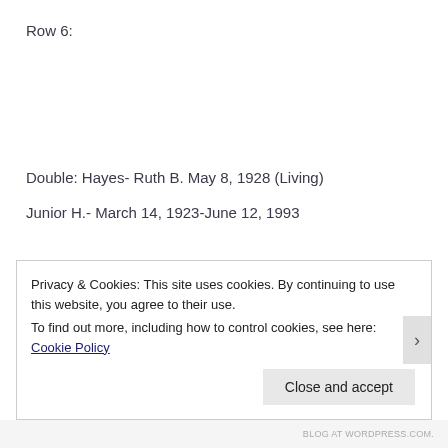Row 6:
Double: Hayes- Ruth B. May 8, 1928 (Living)
Junior H.- March 14, 1923-June 12, 1993
Privacy & Cookies: This site uses cookies. By continuing to use this website, you agree to their use.
To find out more, including how to control cookies, see here: Cookie Policy
BLOG AT WORDPRESS.COM.